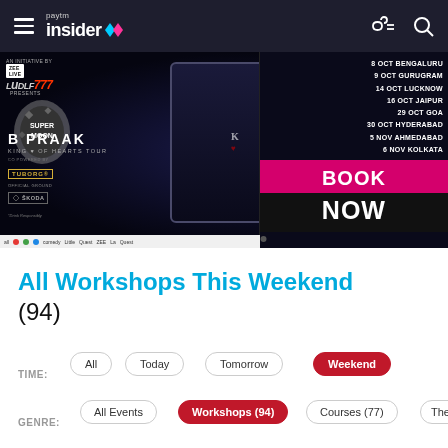Paytm Insider
[Figure (photo): B Praak King of Hearts Tour banner advertisement. Shows tour dates: 8 Oct Bengaluru, 9 Oct Gurugram, 14 Oct Lucknow, 16 Oct Jaipur, 29 Oct Goa, 30 Oct Hyderabad, 5 Nov Ahmedabad, 6 Nov Kolkata. Features B Praak standing in suit with WOLF777 and ZEE LIVE logos. Supermoon presents. Co-powered by Tuborg. Official ground sponsor: Skoda. Book Now button in pink/black.]
All Workshops This Weekend
(94)
TIME:
All
Today
Tomorrow
Weekend
GENRE:
All Events
Workshops (94)
Courses (77)
Theatr…